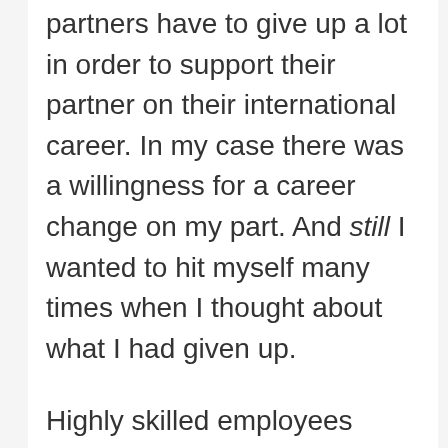partners have to give up a lot in order to support their partner on their international career. In my case there was a willingness for a career change on my part. And still I wanted to hit myself many times when I thought about what I had given up.
Highly skilled employees usually come with highly skilled partners, and when the “giving something up” is the predominant feeling